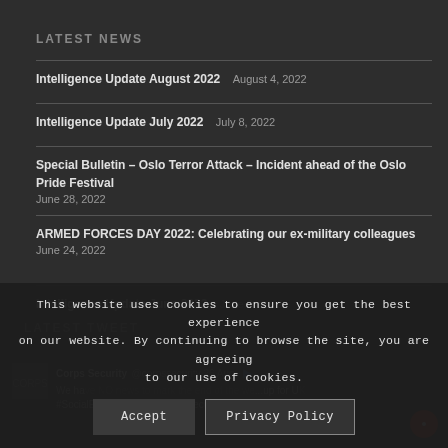LATEST NEWS
Intelligence Update August 2022  August 4, 2022
Intelligence Update July 2022  July 8, 2022
Special Bulletin – Oslo Terror Attack – Incident ahead of the Oslo Pride Festival  June 28, 2022
ARMED FORCES DAY 2022: Celebrating our ex-military colleagues  June 24, 2022
Intelligence Update June 2022  June 9, 2022
LATEST TWEET
This website uses cookies to ensure you get the best experience on our website. By continuing to browse the site, you are agreeing to our use of cookies.
Accept  Privacy Policy